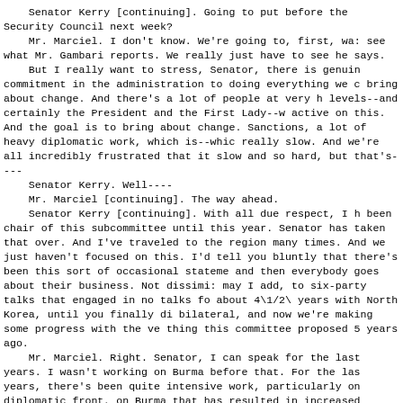Senator Kerry [continuing]. Going to put before the Security Council next week?
    Mr. Marciel. I don't know. We're going to, first, wait see what Mr. Gambari reports. We really just have to see what he says.
    But I really want to stress, Senator, there is genuine commitment in the administration to doing everything we can bring about change. And there's a lot of people at very high levels--and certainly the President and the First Lady--who active on this. And the goal is to bring about change. Sanctions, a lot of heavy diplomatic work, which is--which really slow. And we're all incredibly frustrated that it's slow and so hard, but that's----
    Senator Kerry. Well----
    Mr. Marciel [continuing]. The way ahead.
    Senator Kerry [continuing]. With all due respect, I have been chair of this subcommittee until this year. Senator has taken that over. And I've traveled to the region many times. And we just haven't focused on this. I'd tell you bluntly that there's been this sort of occasional statement and then everybody goes about their business. Not dissimilar, may I add, to six-party talks that engaged in no talks for about 4\1/2\ years with North Korea, until you finally did bilateral, and now we're making some progress with the very thing this committee proposed 5 years ago.
    Mr. Marciel. Right. Senator, I can speak for the last years. I wasn't working on Burma before that. For the last years, there's been quite intensive work, particularly on the diplomatic front, on Burma that has resulted in increased international pressure on the regime. Part of the trouble